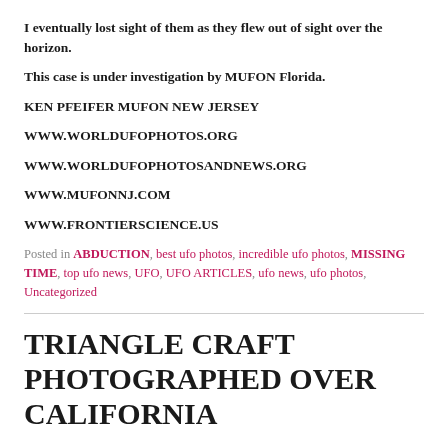I eventually lost sight of them as they flew out of sight over the horizon.
This case is under investigation by MUFON Florida.
KEN PFEIFER MUFON NEW JERSEY
WWW.WORLDUFOPHOTOS.ORG
WWW.WORLDUFOPHOTOSANDNEWS.ORG
WWW.MUFONNJ.COM
WWW.FRONTIERSCIENCE.US
Posted in ABDUCTION, best ufo photos, incredible ufo photos, MISSING TIME, top ufo news, UFO, UFO ARTICLES, ufo news, ufo photos, Uncategorized
TRIANGLE CRAFT PHOTOGRAPHED OVER CALIFORNIA